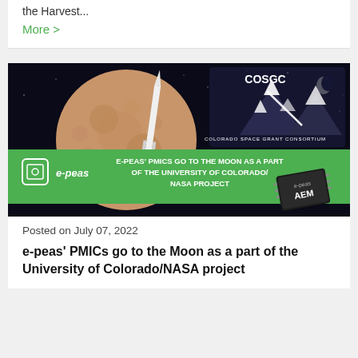the Harvest...
More >
[Figure (illustration): Promotional banner image for e-peas showing a rocket launching in front of a large moon on the left, a COSGC (Colorado Space Grant Consortium) logo with mountain peaks on a dark starry background on the upper right, a green banner with text 'E-PEAS' PMICS GO TO THE MOON AS A PART OF THE UNIVERSITY OF COLORADO/NASA PROJECT', the e-peas logo with a square icon on lower left, and an AEM chip component on lower right.]
Posted on July 07, 2022
e-peas' PMICs go to the Moon as a part of the University of Colorado/NASA project